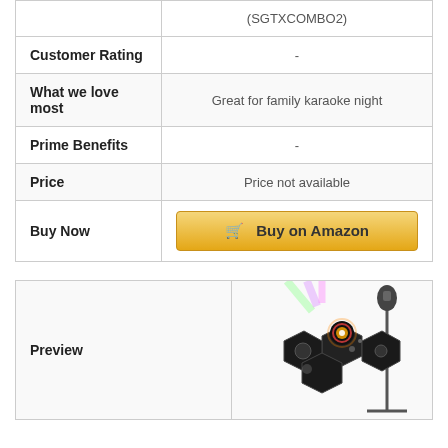|  | (SGTXCOMBO2) |
| --- | --- |
| Customer Rating | - |
| What we love most | Great for family karaoke night |
| Prime Benefits | - |
| Price | Price not available |
| Buy Now | Buy on Amazon |
| Preview | [product image: karaoke machine with colorful lights and microphone stand] |